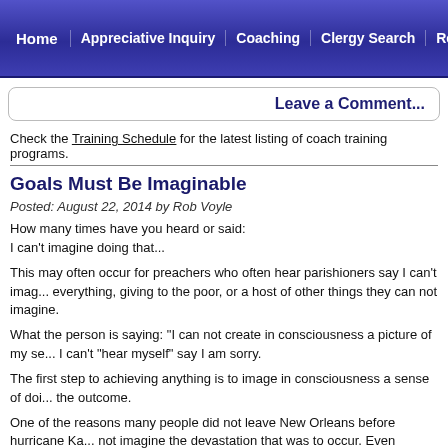Home | Appreciative Inquiry | Coaching | Clergy Search | Re...
Leave a Comment...
Check the Training Schedule for the latest listing of coach training programs.
Goals Must Be Imaginable
Posted: August 22, 2014 by Rob Voyle
How many times have you heard or said:
I can't imagine doing that...
This may often occur for preachers who often hear parishioners say I can't imag... everything, giving to the poor, or a host of other things they can not imagine.
What the person is saying: "I can not create in consciousness a picture of my se... I can't "hear myself" say I am sorry.
The first step to achieving anything is to image in consciousness a sense of doi... the outcome.
One of the reasons many people did not leave New Orleans before hurricane Ka... not imagine the devastation that was to occur. Even though their were technical... happen they remained intellectual abstractions rather than vivid pictures in cons...
If you are a preacher and you want people to change their behavior then wi...